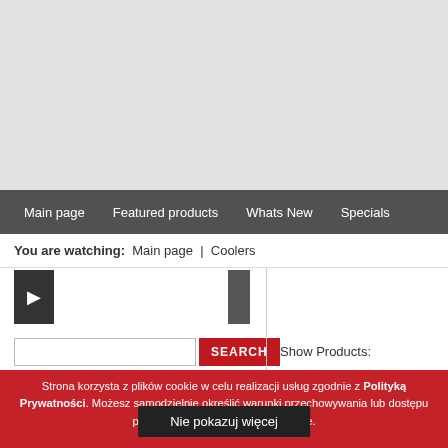[Figure (screenshot): Gray hero banner area at top of e-commerce website]
Main page | Featured products | Whats New | Specials
You are watching:  Main page  |  Coolers
[Figure (screenshot): Left sidebar with search input, SEARCH button, Advanced Search link, and Choose category dropdown; right panel with Show Products and Sort Products labels]
Show Products:
Sort Products:
SEARCH
Advanced Search
Strona korzysta z plików cookie w celu realizacji usług zgodnie z Polityką Prywatności. Możesz samodzielnie określić warunki przechowywania lub dostępu plików cookie w Twojej przeglądarce.
Nie pokazuj więcej
Accessories (25)
Cables & accessories (3...)
FAN-012BLA 80 x 80 x 38 m...